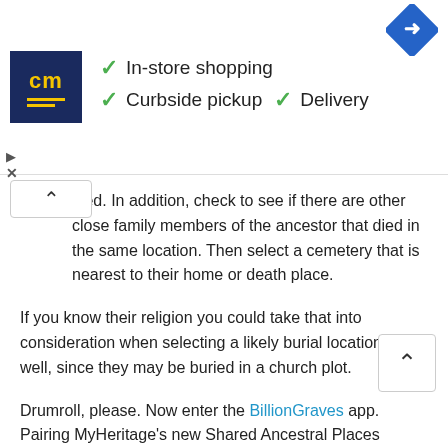[Figure (screenshot): Advertisement banner with 'cm' logo in dark blue square, checkmarks for In-store shopping, Curbside pickup, Delivery, and a blue diamond navigation icon]
died. In addition, check to see if there are other close family members of the ancestor that died in the same location. Then select a cemetery that is nearest to their home or death place.
If you know their religion you could take that into consideration when selecting a likely burial location as well, since they may be buried in a church plot.
Drumroll, please. Now enter the BillionGraves app. Pairing MyHeritage’s new Shared Ancestral Places feature with BillionGraves could be a fantastic way to find your ancestor’s burial place and allow you to break through a genealogical brick wall.
BillionGraves’ mission is to preserve the world’s cemeteries.